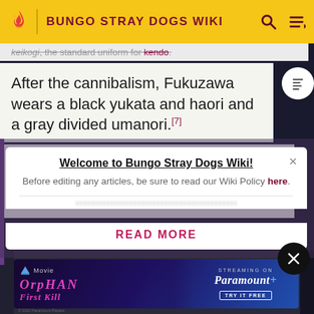BUNGO STRAY DOGS WIKI
keikogi, the standard uniform for kendo.
After the cannibalism, Fukuzawa wears a black yukata and haori and a gray divided umanori.[7]
When he received the Birch Bow of Exorcism, Fukuzawa wears a formal suit.[8]
Welcome to Bungo Stray Dogs Wiki!
Before editing any articles, be sure to read our Wiki Policy here.
READ MORE
[Figure (photo): Advertisement for Orphan: First Kill movie, streaming on Paramount+]